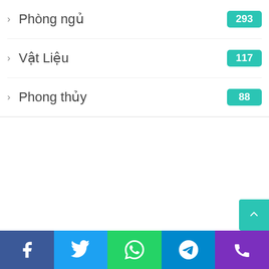> Phòng ngủ 293
> Vật Liệu 117
> Phong thủy 88
[Figure (other): Scroll to top button with teal background and upward chevron arrow]
[Figure (other): Social sharing bar with Facebook (blue), Twitter (light blue), WhatsApp (green), Telegram (blue), Phone (purple) buttons]